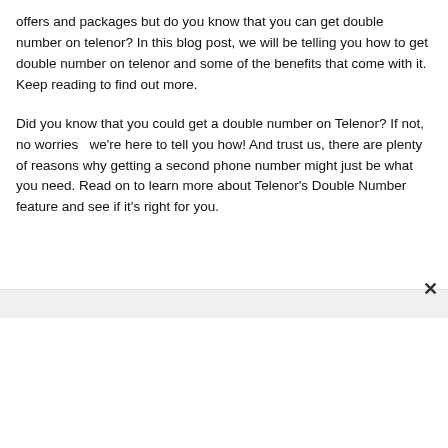offers and packages but do you know that you can get double number on telenor? In this blog post, we will be telling you how to get double number on telenor and some of the benefits that come with it. Keep reading to find out more.
Did you know that you could get a double number on Telenor? If not, no worries  we're here to tell you how! And trust us, there are plenty of reasons why getting a second phone number might just be what you need. Read on to learn more about Telenor's Double Number feature and see if it's right for you.